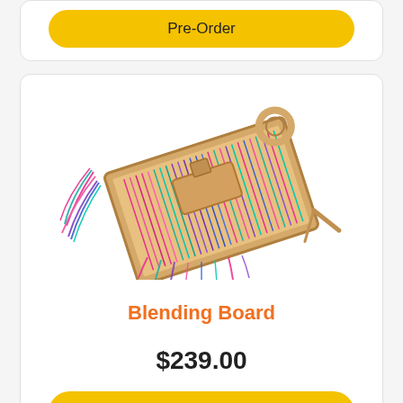Pre-Order
[Figure (photo): A blending board craft tool with colorful fibers (pink, teal, purple, blue) spread across a wooden board with metal pins, a wooden handle tool resting on top, and a wooden stand/easel.]
Blending Board
$239.00
Pre-Order